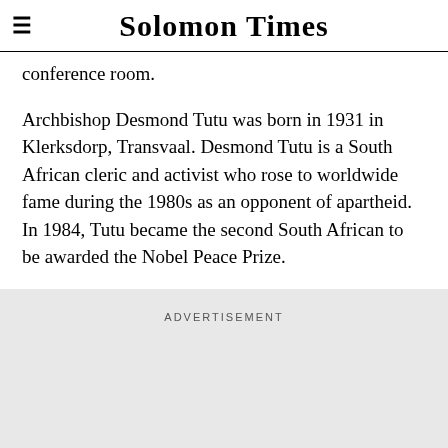Solomon Times
conference room.
Archbishop Desmond Tutu was born in 1931 in Klerksdorp, Transvaal. Desmond Tutu is a South African cleric and activist who rose to worldwide fame during the 1980s as an opponent of apartheid. In 1984, Tutu became the second South African to be awarded the Nobel Peace Prize.
ADVERTISEMENT